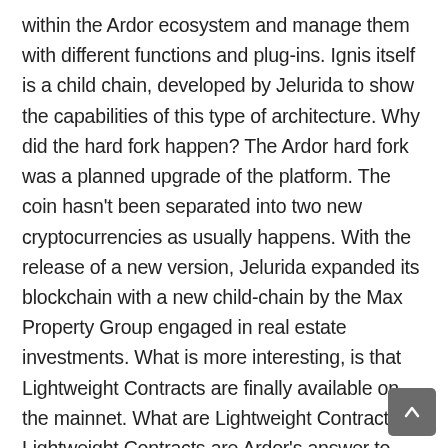within the Ardor ecosystem and manage them with different functions and plug-ins. Ignis itself is a child chain, developed by Jelurida to show the capabilities of this type of architecture. Why did the hard fork happen? The Ardor hard fork was a planned upgrade of the platform. The coin hasn't been separated into two new cryptocurrencies as usually happens. With the release of a new version, Jelurida expanded its blockchain with a new child-chain by the Max Property Group engaged in real estate investments. What is more interesting, is that Lightweight Contracts are finally available on the mainnet. What are Lightweight Contracts? Lightweight Contracts are Ardor's answer to Smart Contracts. They are also designed to automate processes on the blockchain, but have several important advantages: While Smart